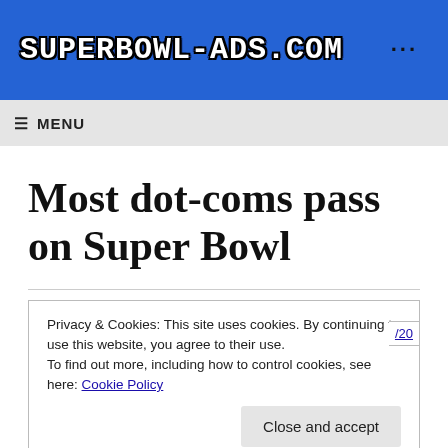SUPERBOWL-ADS.COM
≡ MENU
Most dot-coms pass on Super Bowl
Privacy & Cookies: This site uses cookies. By continuing to use this website, you agree to their use.
To find out more, including how to control cookies, see here: Cookie Policy
Close and accept